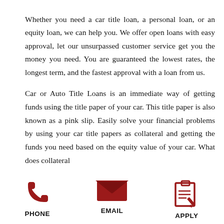Whether you need a car title loan, a personal loan, or an equity loan, we can help you. We offer open loans with easy approval, let our unsurpassed customer service get you the money you need. You are guaranteed the lowest rates, the longest term, and the fastest approval with a loan from us.
Car or Auto Title Loans is an immediate way of getting funds using the title paper of your car. This title paper is also known as a pink slip. Easily solve your financial problems by using your car title papers as collateral and getting the funds you need based on the equity value of your car. What does collateral
[Figure (infographic): Three contact icons in a row: a red phone icon labeled PHONE, a red envelope icon labeled EMAIL, and a red clipboard/apply icon labeled APPLY]